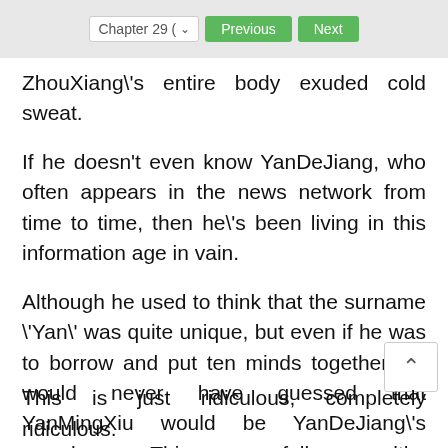Chapter 29 (  Previous  Next
ZhouXiang\'s entire body exuded cold sweat.
If he doesn't even know YanDeJiang, who often appears in the news network from time to time, then he\'s been living in this information age in vain.
Although he used to think that the surname \'Yan\' was quite unique, but even if he was to borrow and put ten minds together, he would never have guessed that YanMingXiu would be YanDeJiang\'s grandson. This powerfully wealthy character in Beijing, how could they be of the same world?
This is just ridiculous, completely ridiculous.